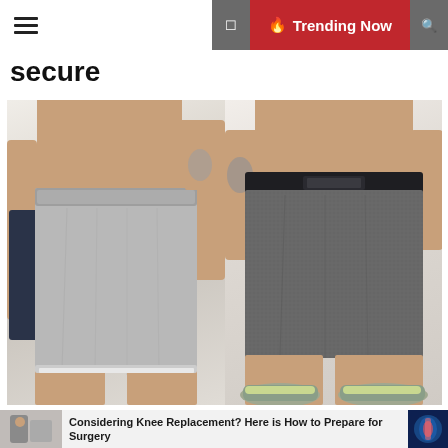≡  🔥 Trending Now  🔍
secure
[Figure (photo): Two-panel product photo of men's athletic shorts. Left panel shows a man from waist down wearing light gray boxer-style shorts and holding dark navy clothing. Right panel shows a man from behind wearing dark heathered gray athletic shorts with a black waistband, with green/gray sneakers visible.]
Considering Knee Replacement? Here is How to Prepare for Surgery